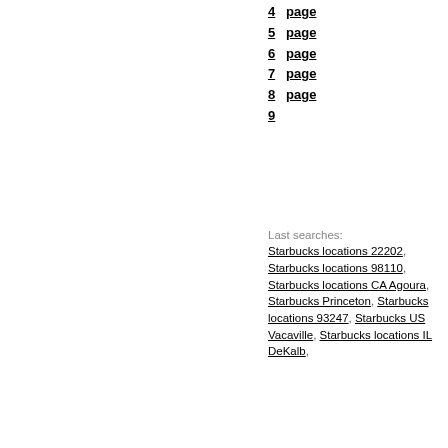4   page
5   page
6   page
7   page
8   page
9
Last searches: Starbucks locations 22202, Starbucks locations 98110, Starbucks locations CA Agoura, Starbucks Princeton, Starbucks locations 93247, Starbucks US Vacaville, Starbucks locations IL DeKalb,